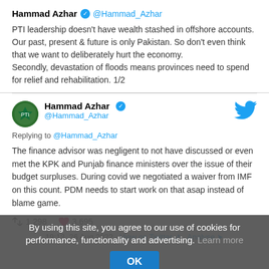Hammad Azhar @Hammad_Azhar
PTI leadership doesn't have wealth stashed in offshore accounts. Our past, present & future is only Pakistan. So don't even think that we want to deliberately hurt the economy.
Secondly, devastation of floods means provinces need to spend for relief and rehabilitation. 1/2
Hammad Azhar @Hammad_Azhar
Replying to @Hammad_Azhar
The finance advisor was negligent to not have discussed or even met the KPK and Punjab finance ministers over the issue of their budget surpluses. During covid we negotiated a waiver from IMF on this count. PDM needs to start work on that asap instead of blame game.
1,298 retweets · 3,695 likes
19:13, 26 Aug 2022 · View on Twitter · Analyse
By using this site, you agree to our use of cookies for performance, functionality and advertising. Learn more OK